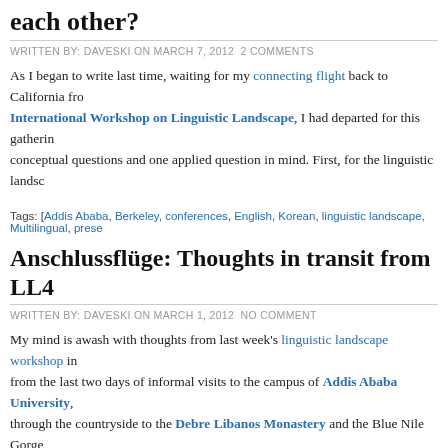each other?
WRITTEN BY: DAVESKI ON MARCH 7, 2012  2 COMMENTS
As I began to write last time, waiting for my connecting flight back to California from the International Workshop on Linguistic Landscape, I had departed for this gathering with two conceptual questions and one applied question in mind. First, for the linguistic landscape...
Tags: [Addis Ababa, Berkeley, conferences, English, Korean, linguistic landscape, Multilingual, prese...
Anschlussflüge: Thoughts in transit from LL4
WRITTEN BY: DAVESKI ON MARCH 1, 2012  NO COMMENT
My mind is awash with thoughts from last week's linguistic landscape workshop in... from the last two days of informal visits to the campus of Addis Ababa University, through the countryside to the Debre Libanos Monastery and the Blue Nile Gorge,
Tags: [Addis Ababa, Amharic, conferences, English, Ethiopia, German, linguistic landscape]
The prezi that wasn't
WRITTEN BY: DAVESKI ON OCTOBER 9, 2011  8 COMMENTS
For Friday's presentation at the Berkeley Language Center Languages colloquium, I was really looking forward...